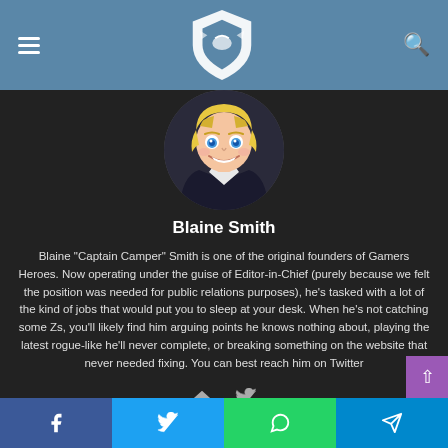Gamers Heroes website header with hamburger menu, shield logo, and search icon
[Figure (illustration): Circular avatar of Blaine Smith — anime/cartoon style character with blonde hair and blue eyes]
Blaine Smith
Blaine "Captain Camper" Smith is one of the original founders of Gamers Heroes. Now operating under the guise of Editor-in-Chief (purely because we felt the position was needed for public relations purposes), he's tasked with a lot of the kind of jobs that would put you to sleep at your desk. When he's not catching some Zs, you'll likely find him arguing points he knows nothing about, playing the latest rogue-like he'll never complete, or breaking something on the website that never needed fixing. You can best reach him on Twitter
Share bar: Facebook, Twitter, WhatsApp, Telegram